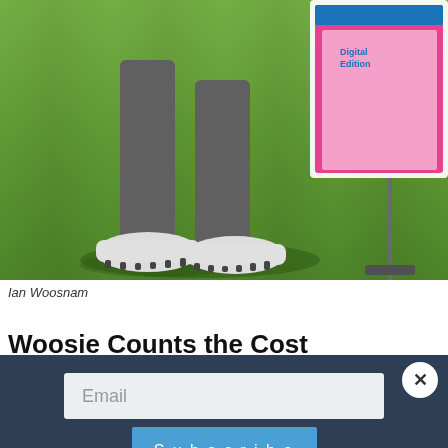[Figure (photo): Photograph of Ian Woosnam, a golfer, shown from the legs down on a green golf course, wearing grey trousers and white golf shoes. A putter club and a magazine corner are also visible.]
Ian Woosnam
Woosie Counts the Cost
British golfer Ian Woosnam was a hugely successful golfer, winning 52 times all over the world, including his famous